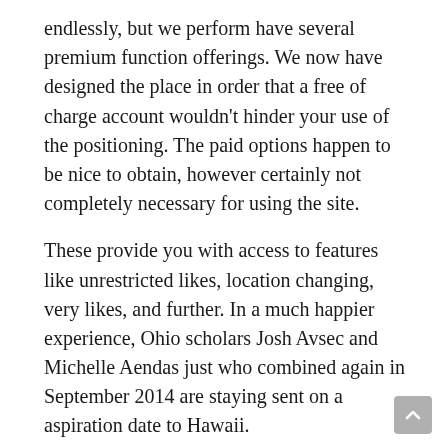endlessly, but we perform have several premium function offerings. We now have designed the place in order that a free of charge account wouldn't hinder your use of the positioning. The paid options happen to be nice to obtain, however certainly not completely necessary for using the site.
These provide you with access to features like unrestricted likes, location changing, very likes, and further. In a much happier experience, Ohio scholars Josh Avsec and Michelle Aendas just who combined again in September 2014 are staying sent on a aspiration date to Hawaii.
Using geolocation, the application reveals users profiles of their most well-liked gender and age-range really set physical space.
A couple who have “appreciated” one another’s profiles are deemed a match, and may start messaging by way of the iphone app.